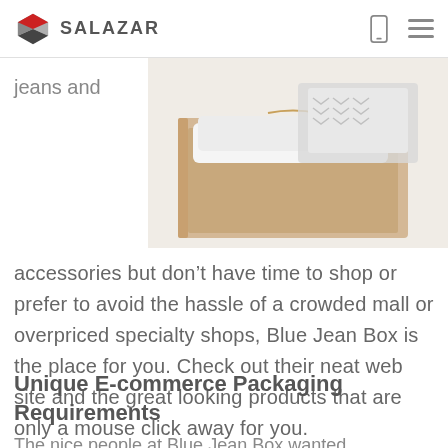SALAZAR
jeans and
[Figure (photo): An open cardboard box containing folded clothing items wrapped in white tissue paper with twine, with a chevron-patterned fabric visible in the background.]
accessories but don’t have time to shop or prefer to avoid the hassle of a crowded mall or overpriced specialty shops, Blue Jean Box is the place for you. Check out their neat web site and the great looking products that are only a mouse click away for you.
Unique E-commerce Packaging Requirements
The nice people at Blue Jean Box wanted...